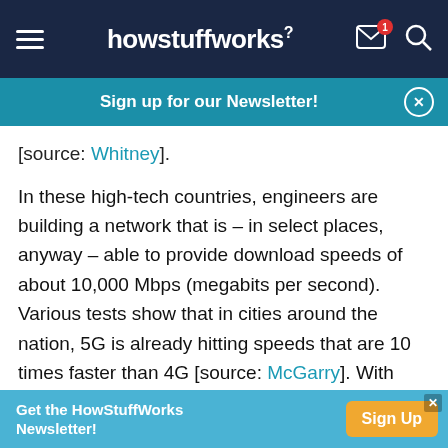howstuffworks
Sign up for our Newsletter!
[source: Whitney].
In these high-tech countries, engineers are building a network that is – in select places, anyway – able to provide download speeds of about 10,000 Mbps (megabits per second). Various tests show that in cities around the nation, 5G is already hitting speeds that are 10 times faster than 4G [source: McGarry]. With those kinds of blazing speeds will come even more complex and powerful smartphone apps,
Get the HowStuffWorks Newsletter!